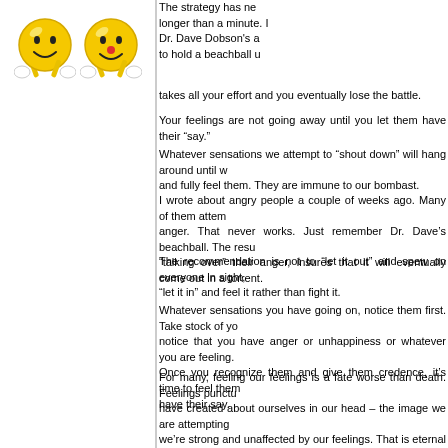[Figure (illustration): Two yellow smiley face emoji illustrations with white gloved hands, side by side]
The strategy has ne longer than a minute. Dr. Dave Dobson's a to hold a beachball u takes all your effort and you eventually lose the battle.
Your feelings are not going away until you let them have their “say.”
Whatever sensations we attempt to “shout down” will hang around until w and fully feel them. They are immune to our bombast.
I wrote about angry people a couple of weeks ago. Many of them attem anger. That never works. Just remember Dr. Dave’s beachball. The resu “talking over” their anger, insures that it will eventually come out in a torrent.
The recommendation is not to “let it out” and spew on everyone in sight, “let it in” and feel it rather than fight it.
Whatever sensations you have going on, notice them first. Take stock of yo notice that you have anger or unhappiness or whatever you are feeling. Once you recognize them and give them credence, it’s time to feel them have their say.
For many, feeling our feelings is a fate worse than death. Feelings punctu have created about ourselves in our head – the image we are attempting we’re strong and unaffected by our feelings. That is eternal hogwash.
Feelings can’t be shooed away with a soliloquy; they need to be fa metabolize.
Noticing and sitting with your feelings is the remedy for letting the air out of
Talking over will eventually take you under. Start to monitor rather tha sensations and feel what your body is urging you to feel. It works a lot bette aren’t sealed.
All the best,
John